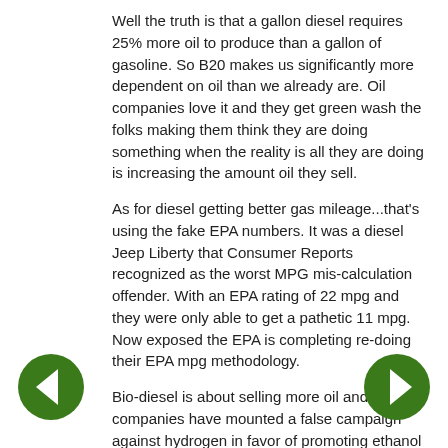Well the truth is that a gallon diesel requires 25% more oil to produce than a gallon of gasoline. So B20 makes us significantly more dependent on oil than we already are. Oil companies love it and they get green wash the folks making them think they are doing something when the reality is all they are doing is increasing the amount oil they sell.
As for diesel getting better gas mileage...that's using the fake EPA numbers. It was a diesel Jeep Liberty that Consumer Reports recognized as the worst MPG mis-calculation offender. With an EPA rating of 22 mpg and they were only able to get a pathetic 11 mpg. Now exposed the EPA is completing re-doing their EPA mpg methodology.
Bio-diesel is about selling more oil and oil companies have mounted a false campaign against hydrogen in favor of promoting ethanol and bio-diesel. Why? Because hydrogen can be made from so many different sources beyond sources that oil companies control...and thus it
[Figure (other): Green circular navigation arrow button pointing left (back)]
[Figure (other): Green circular navigation arrow button pointing right (forward)]